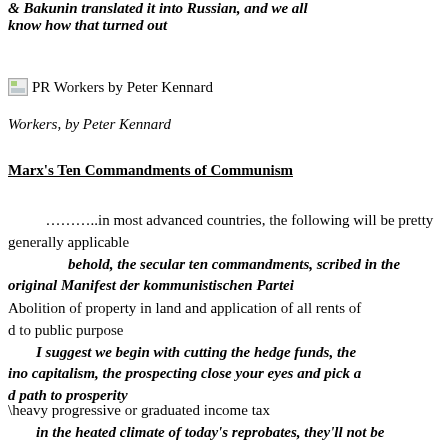& Bakunin translated it into Russian, and we all know how that turned out
[Figure (illustration): Small broken image icon followed by text 'PR Workers by Peter Kennard']
Workers, by Peter Kennard
Marx's Ten Commandments of Communism
………..in most advanced countries, the following will be pretty generally applicable behold, the secular ten commandments, scribed in the original Manifest der kommunistischen Partei
Abolition of property in land and application of all rents of land to public purpose I suggest we begin with cutting the hedge funds, the ino capitalism, the prospecting close your eyes and pick a d path to prosperity
A heavy progressive or graduated income tax in the heated climate of today's reprobates, they'll not be